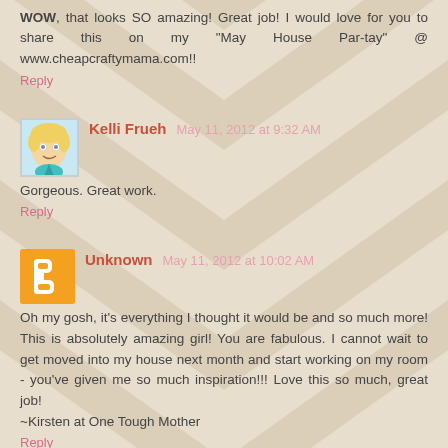WOW, that looks SO amazing! Great job! I would love for you to share this on my "May House Par-tay" @ www.cheapcraftymama.com!!
Reply
Kelli Frueh  May 11, 2012 at 9:32 AM
Gorgeous. Great work.
Reply
Unknown  May 11, 2012 at 10:02 AM
Oh my gosh, it's everything I thought it would be and so much more! This is absolutely amazing girl! You are fabulous. I cannot wait to get moved into my house next month and start working on my room - you've given me so much inspiration!!! Love this so much, great job!
~Kirsten at One Tough Mother
Reply